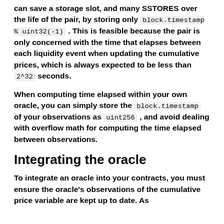can save a storage slot, and many SSTORES over the life of the pair, by storing only block.timestamp % uint32(-1) . This is feasible because the pair is only concerned with the time that elapses between each liquidity event when updating the cumulative prices, which is always expected to be less than 2^32 seconds.
When computing time elapsed within your own oracle, you can simply store the block.timestamp of your observations as uint256 , and avoid dealing with overflow math for computing the time elapsed between observations.
Integrating the oracle
To integrate an oracle into your contracts, you must ensure the oracle's observations of the cumulative price variable are kept up to date. As